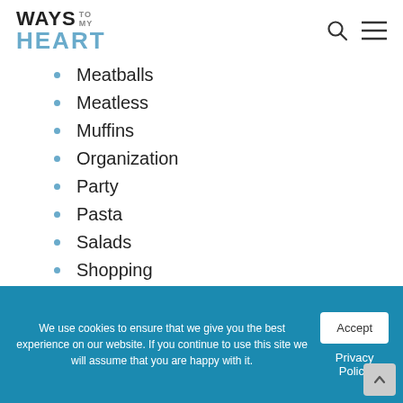WAYS TO MY HEART
Meatballs
Meatless
Muffins
Organization
Party
Pasta
Salads
Shopping
Sides
Slow Cooker
Snacks
Soups
We use cookies to ensure that we give you the best experience on our website. If you continue to use this site we will assume that you are happy with it.
Accept
Privacy Policy